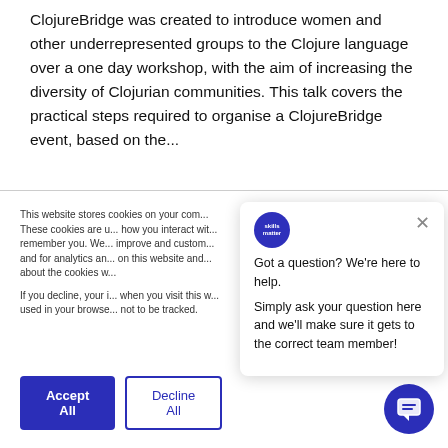ClojureBridge was created to introduce women and other underrepresented groups to the Clojure language over a one day workshop, with the aim of increasing the diversity of Clojurian communities. This talk covers the practical steps required to organise a ClojureBridge event, based on the...
This website stores cookies on your com... These cookies are u... how you interact wit... remember you. We... improve and custo... and for analytics an... on this website and ... about the cookies w...
If you decline, your i... when you visit this w... used in your browse... not to be tracked.
Got a question? We're here to help.
Simply ask your question here and we'll make sure it gets to the correct team member!